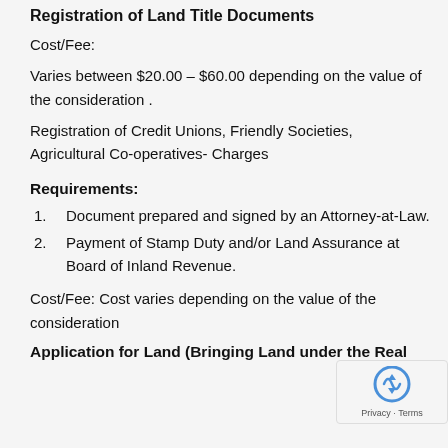Registration of Land Title Documents
Cost/Fee:
Varies between $20.00 – $60.00 depending on the value of the consideration .
Registration of Credit Unions, Friendly Societies, Agricultural Co-operatives- Charges
Requirements:
Document prepared and signed by an Attorney-at-Law.
Payment of Stamp Duty and/or Land Assurance at Board of Inland Revenue.
Cost/Fee: Cost varies depending on the value of the consideration
Application for Land (Bringing Land under the Real